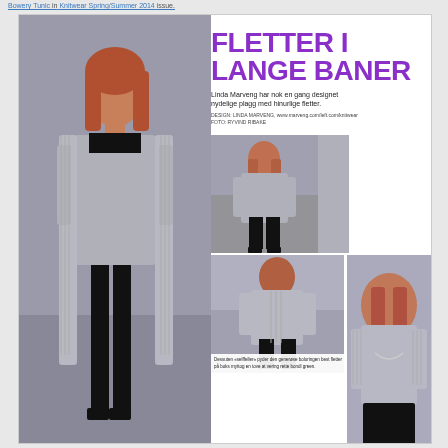Bowery Tunic in Knitwear Spring/Summer 2014 issue.
[Figure (photo): Magazine layout page featuring a woman modeling a long gray cable-knit cardigan. Main large photo on left shows full-length view. Right side has large bold purple title 'FLETTER I LANGE BANER', subtitle text, and a grid of smaller photos showing the garment from different angles.]
FLETTER I LANGE BANER
Linda Marveng har nok en gang designet nydelige plagg med hinurlige fletter.
Den elegante toppen er gjort overlig langsomde fasong.
Dessuten «selffeller» pyder den generøse boluringen best fletter på boks myttog en tove at vering rette bondl green.